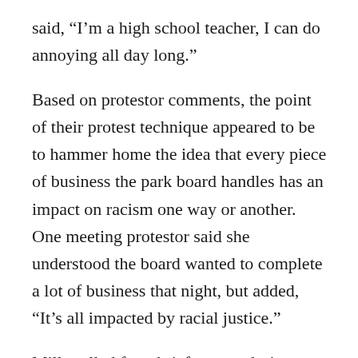said, “I’m a high school teacher, I can do annoying all day long.”
Based on protestor comments, the point of their protest technique appeared to be to hammer home the idea that every piece of business the park board handles has an impact on racism one way or another. One meeting protestor said she understood the board wanted to complete a lot of business that night, but added, “It’s all impacted by racial justice.”
Mills called for a brief recess, during which commissioners, parks staff and legal staff huddled behind the dais. The play Mills called when they returned was to move the two controversial agenda